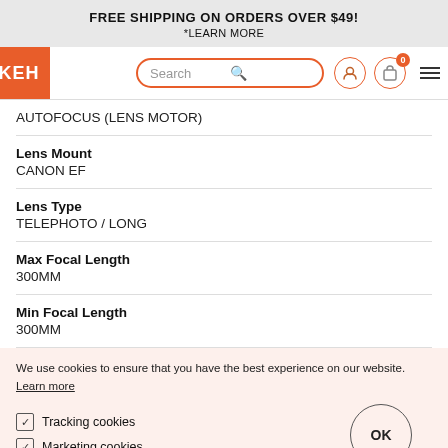FREE SHIPPING ON ORDERS OVER $49!
*LEARN MORE
[Figure (logo): KEH camera store navigation bar with logo, search box, user icon, cart icon with badge 0, and hamburger menu]
AUTOFOCUS (LENS MOTOR)
Lens Mount
CANON EF
Lens Type
TELEPHOTO / LONG
Max Focal Length
300MM
Min Focal Length
300MM
We use cookies to ensure that you have the best experience on our website. Learn more
Tracking cookies
Marketing cookies